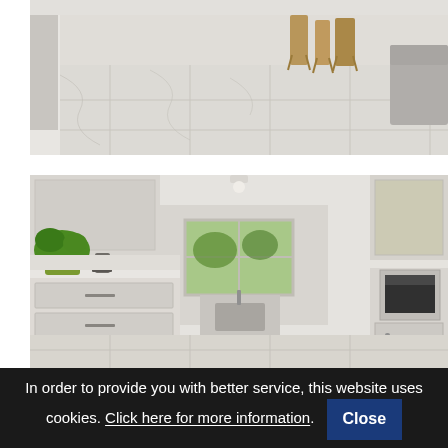[Figure (photo): Interior photo showing a modern light-colored marble tile floor with wooden bar stools in the background and a grey sofa partially visible on the right]
[Figure (photo): Interior photo of a modern white kitchen with glossy cabinets, marble floor tiles, a green potted plant on the counter, stainless steel appliances, and a window at the far end]
In order to provide you with better service, this website uses cookies. Click here for more information. Close